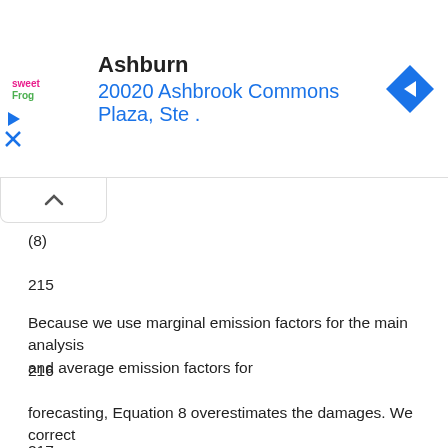[Figure (screenshot): Ad banner showing sweetFrog Ashburn location at 20020 Ashbrook Commons Plaza, Ste . with navigation arrow icon and play/close buttons on left]
(8)
215
Because we use marginal emission factors for the main analysis and average emission factors for
216
forecasting, Equation 8 overestimates the damages. We correct for this overestimation, D̂ k,h
217
[$/yr], by multiplying the ratio of calculated results for 2014 from Equation 5, Dh [$/yr],